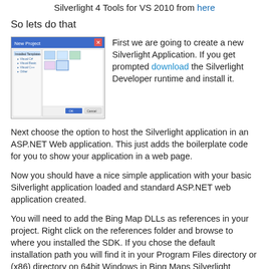Silverlight 4 Tools for VS 2010 from here
So lets do that
[Figure (screenshot): Screenshot of Visual Studio 2010 New Project dialog showing Silverlight application project template selected]
First we are going to create a new Silverlight Application. If you get prompted download the Silverlight Developer runtime and install it.
Next choose the option to host the Silverlight application in an ASP.NET Web application. This just adds the boilerplate code for you to show your application in a web page.
Now you should have a nice simple application with your basic Silverlight application loaded and standard ASP.NET web application created.
You will need to add the Bing Map DLLs as references in your project. Right click on the references folder and browse to where you installed the SDK. If you chose the default installation path you will find it in your Program Files directory or (x86) directory on 64bit Windows in Bing Maps Silverlight Control. You will find the DLLs you need in the